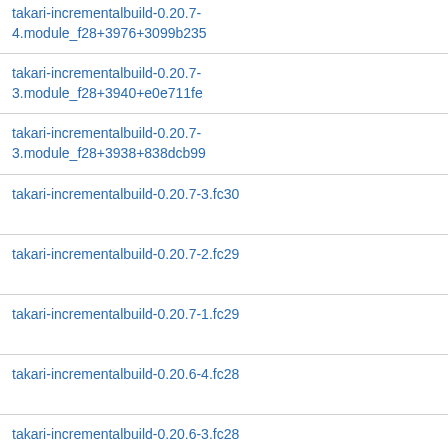| takari-incrementalbuild-0.20.7-4.module_f28+3976+3099b235 |
| takari-incrementalbuild-0.20.7-3.module_f28+3940+e0e711fe |
| takari-incrementalbuild-0.20.7-3.module_f28+3938+838dcb99 |
| takari-incrementalbuild-0.20.7-3.fc30 |
| takari-incrementalbuild-0.20.7-2.fc29 |
| takari-incrementalbuild-0.20.7-1.fc29 |
| takari-incrementalbuild-0.20.6-4.fc28 |
| takari-incrementalbuild-0.20.6-3.fc28 |
| takari-incrementalbuild-0.20.6-2.fc28 |
| takari-incrementalbuild-0.20.6-1.fc28 |
| takari-incrementalbuild-0.20.5-2.fc28 |